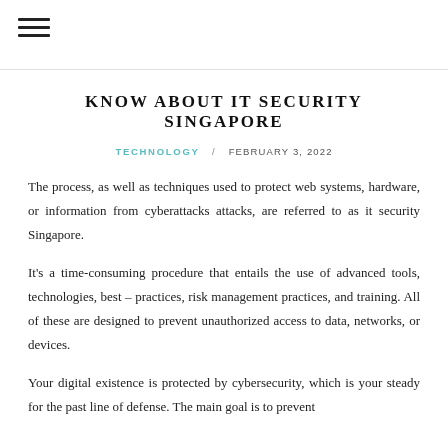☰
KNOW ABOUT IT SECURITY SINGAPORE
TECHNOLOGY / FEBRUARY 3, 2022
The process, as well as techniques used to protect web systems, hardware, or information from cyberattacks attacks, are referred to as it security Singapore.
It's a time-consuming procedure that entails the use of advanced tools, technologies, best – practices, risk management practices, and training. All of these are designed to prevent unauthorized access to data, networks, or devices.
Your digital existence is protected by cybersecurity, which is your steady for the past line of defense. The main goal is to prevent